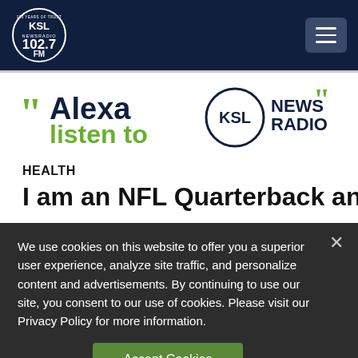KSL NewsRadio 102.7FM
[Figure (logo): Alexa listen to KSL NewsRadio promotional banner]
HEALTH
I am an NFL Quarterback and I
We use cookies on this website to offer you a superior user experience, analyze site traffic, and personalize content and advertisements. By continuing to use our site, you consent to our use of cookies. Please visit our Privacy Policy for more information.
Accept Cookies